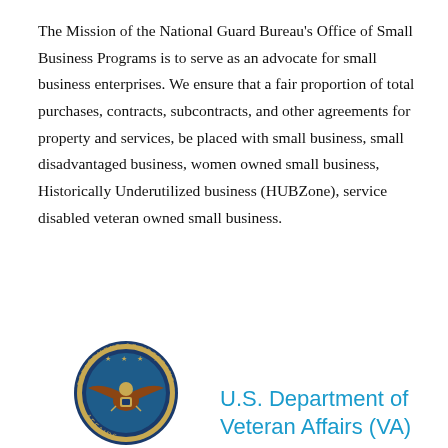The Mission of the National Guard Bureau's Office of Small Business Programs is to serve as an advocate for small business enterprises. We ensure that a fair proportion of total purchases, contracts, subcontracts, and other agreements for property and services, be placed with small business, small disadvantaged business, women owned small business, Historically Underutilized business (HUBZone), service disabled veteran owned small business.
[Figure (logo): U.S. Department of Veterans Affairs circular seal/logo with eagle and stars]
U.S. Department of Veteran Affairs (VA)